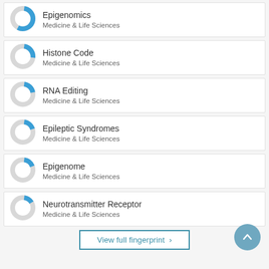[Figure (donut-chart): Donut chart showing partial fill ~55% blue for Epigenomics, Medicine & Life Sciences]
[Figure (donut-chart): Donut chart showing partial fill ~25% blue for Histone Code, Medicine & Life Sciences]
[Figure (donut-chart): Donut chart showing partial fill ~20% blue for RNA Editing, Medicine & Life Sciences]
[Figure (donut-chart): Donut chart showing partial fill ~20% blue for Epileptic Syndromes, Medicine & Life Sciences]
[Figure (donut-chart): Donut chart showing partial fill ~20% blue for Epigenome, Medicine & Life Sciences]
[Figure (donut-chart): Donut chart showing partial fill ~15% blue for Neurotransmitter Receptor, Medicine & Life Sciences]
View full fingerprint >